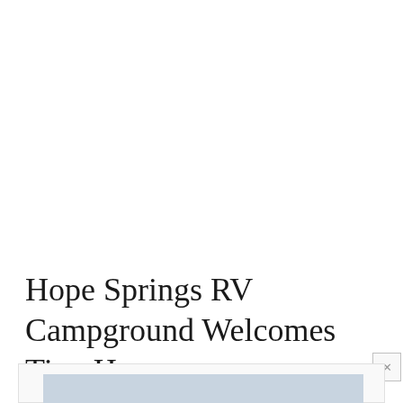Hope Springs RV Campground Welcomes Tiny Homes
[Figure (photo): Partially visible image placeholder at the bottom of the page with light blue-gray background]